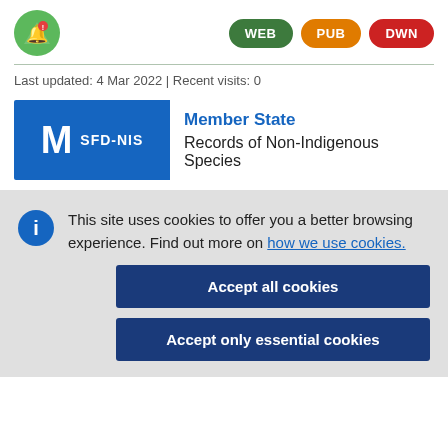[Figure (logo): Green circular logo with a white bell/alert icon]
[Figure (infographic): Three colored badge buttons: WEB (green), PUB (orange), DWN (red)]
Last updated: 4 Mar 2022 | Recent visits: 0
[Figure (infographic): Blue badge with large M and SFD-NIS label]
Member State
Records of Non-Indigenous Species
This site uses cookies to offer you a better browsing experience. Find out more on how we use cookies.
Accept all cookies
Accept only essential cookies